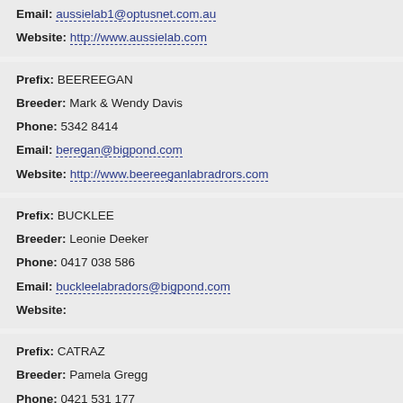Email: aussielab1@optusnet.com.au
Website: http://www.aussielab.com
Prefix: BEEREEGAN
Breeder: Mark & Wendy Davis
Phone: 5342 8414
Email: beregan@bigpond.com
Website: http://www.beereeganlabradros.com
Prefix: BUCKLEE
Breeder: Leonie Deeker
Phone: 0417 038 586
Email: buckleelabradors@bigpond.com
Website:
Prefix: CATRAZ
Breeder: Pamela Gregg
Phone: 0421 531 177